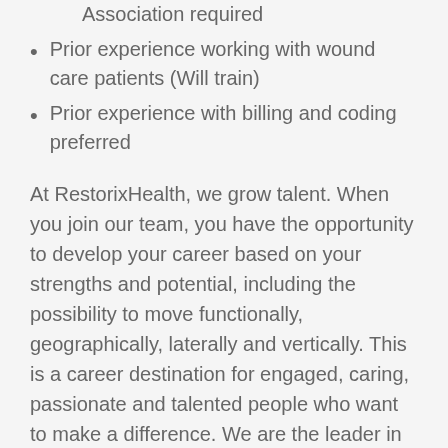ACLS or certification from the American Heart Association required
Prior experience working with wound care patients (Will train)
Prior experience with billing and coding preferred
At RestorixHealth, we grow talent. When you join our team, you have the opportunity to develop your career based on your strengths and potential, including the possibility to move functionally, geographically, laterally and vertically. This is a career destination for engaged, caring, passionate and talented people who want to make a difference. We are the leader in the development and management of comprehensive wound healing and Amputation Prevention Center facilities.
RestorixHealth is an Equal Opportunity Employer encouraging diversity in the workplace. All qualified applicants will receive consideration for employment without regard to race, national origin, gender, age, religion, disability, sexual orientation,